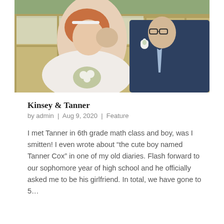[Figure (photo): Wedding photo of a bride and groom. The bride has red hair and is wearing a white dress, smiling. The groom is wearing a navy suit and kissing her on the cheek. Background shows a building with large windows and greenery.]
Kinsey & Tanner
by admin | Aug 9, 2020 | Feature
I met Tanner in 6th grade math class and boy, was I smitten! I even wrote about “the cute boy named Tanner Cox” in one of my old diaries. Flash forward to our sophomore year of high school and he officially asked me to be his girlfriend. In total, we have gone to 5…